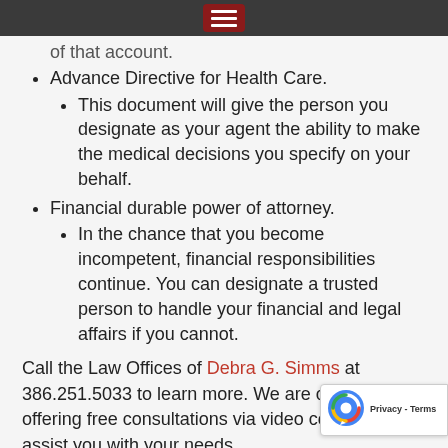of that account.
Advance Directive for Health Care.
This document will give the person you designate as your agent the ability to make the medical decisions you specify on your behalf.
Financial durable power of attorney.
In the chance that you become incompetent, financial responsibilities continue. You can designate a trusted person to handle your financial and legal affairs if you cannot.
Call the Law Offices of Debra G. Simms at 386.251.5033 to learn more. We are currently offering free consultations via video conference to assist you with your needs.
This blog post is not case-specific and is provided only for educational purposes and is not intended to provide specific legal advice. Blog topics may or